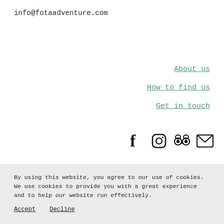info@fotaadventure.com
About us
How to find us
Get in touch
[Figure (other): Social media icons: Facebook, Instagram, TripAdvisor, Email]
By using this website, you agree to our use of cookies. We use cookies to provide you with a great experience and to help our website run effectively.
Accept
Decline